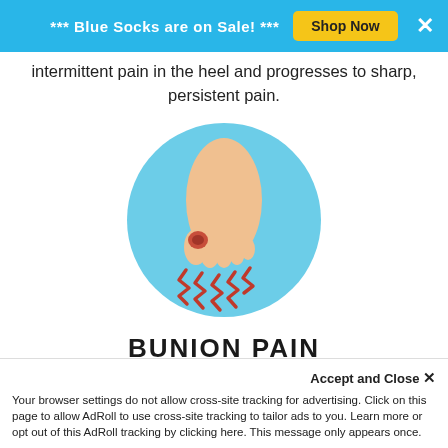*** Blue Socks are on Sale! ***  Shop Now  ×
intermittent pain in the heel and progresses to sharp, persistent pain.
[Figure (illustration): Illustration of a foot with a bunion highlighted in red at the ball of the foot, with red zigzag lines indicating pain radiating outward, set on a light blue circular background.]
BUNION PAIN
Often, bunion pain is a result of poorly fitting shoes, genetics or medical conditions. Gently stretching the toes can help relieve the pain.
Accept and Close ×
Your browser settings do not allow cross-site tracking for advertising. Click on this page to allow AdRoll to use cross-site tracking to tailor ads to you. Learn more or opt out of this AdRoll tracking by clicking here. This message only appears once.